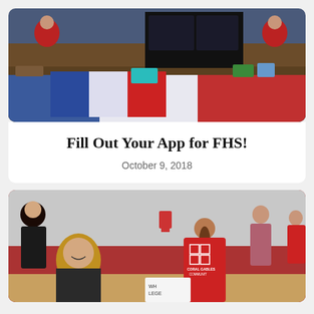[Figure (photo): Students at a school fair or expo with decorated tables; a French flag is visible draped over tables, along with project boards and themed decorations including an Eiffel Tower model. Students wear red shirts.]
Fill Out Your App for FHS!
October 9, 2018
[Figure (photo): People at an indoor school event or fair in a gymnasium. A young woman in a red shirt with 'Coral Gables Community' logo is visible from behind, and another woman smiles in the foreground. Booths with signs are visible in the background.]